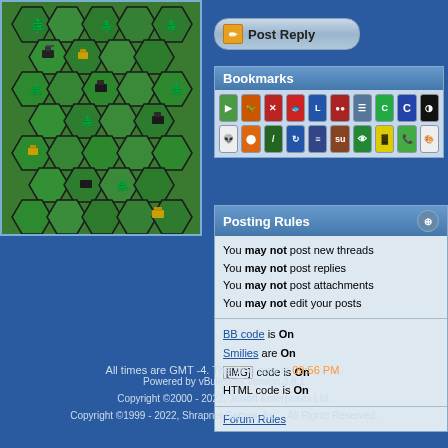[Figure (screenshot): Strategy game screenshot showing a hexagonal tile-based map with green terrain, trees, and military units (tanks/vehicles) in black and yellow colors on hex grid.]
Post Reply
Bookmarks
[Figure (illustration): Grid of social bookmarking icons in two rows: green arrow, dinosaur/orange, X/red, fish/red, blue L, red balls, document, green C, blue C, black/white square. Second row: Reddit alien, orange/blue circles, slash/green, blue swirl, blue lines, StumbleUpon, eye/green, yellow/black, phone/green, colorful grid.]
Posting Rules
You may not post new threads
You may not post replies
You may not post attachments
You may not edit your posts
BB code is On
Smilies are On
[IMG] code is On
HTML code is On
Forum Rules
All times are GMT -4. The time now is 09:56 PM.
Powered by vBulletin® Version 3.8.1
Copyright ©2000 - 2022, Jelsoft Enterprises Ltd.
Copyright ©1999 - 2022, Shrapnel Games, Inc. - All Rights Reserved.